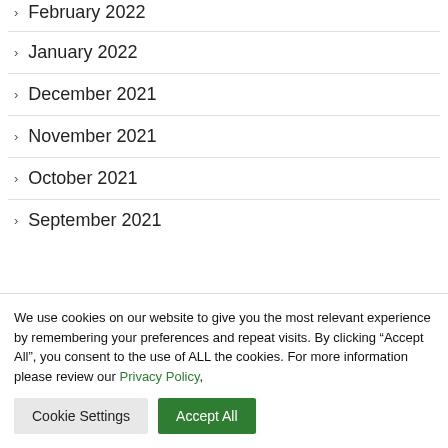February 2022
January 2022
December 2021
November 2021
October 2021
September 2021
We use cookies on our website to give you the most relevant experience by remembering your preferences and repeat visits. By clicking “Accept All”, you consent to the use of ALL the cookies. For more information please review our Privacy Policy,
Cookie Settings | Accept All